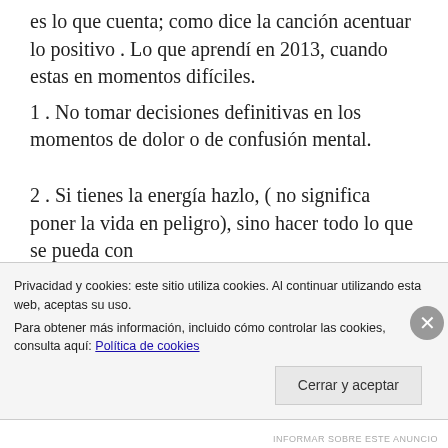es lo que cuenta; como dice la canción acentuar lo positivo . Lo que aprendí en 2013, cuando estas en momentos difíciles.
1 . No tomar decisiones definitivas en los momentos de dolor o de confusión mental.
2 . Si tienes la energía hazlo, ( no significa poner la vida en peligro), sino hacer todo lo que se pueda con
Privacidad y cookies: este sitio utiliza cookies. Al continuar utilizando esta web, aceptas su uso.
Para obtener más información, incluido cómo controlar las cookies, consulta aquí: Política de cookies
Cerrar y aceptar
INFORMAR SOBRE ESTE ANUNCIO